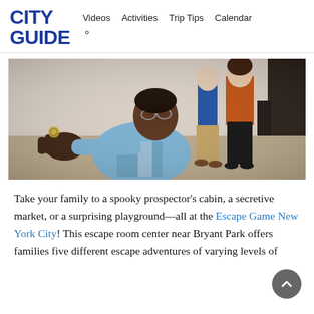CITY GUIDE | Videos  Activities  Trip Tips  Calendar
[Figure (photo): Person crouching and reaching toward camera holding a small object, with two other people visible in background inside an escape room setting.]
Take your family to a spooky prospector’s cabin, a secretive market, or a surprising playground—all at the Escape Game New York City! This escape room center near Bryant Park offers families five different escape adventures of varying levels of